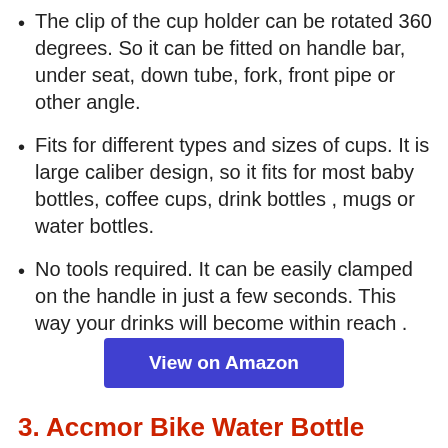The clip of the cup holder can be rotated 360 degrees. So it can be fitted on handle bar, under seat, down tube, fork, front pipe or other angle.
Fits for different types and sizes of cups. It is large caliber design, so it fits for most baby bottles, coffee cups, drink bottles , mugs or water bottles.
No tools required. It can be easily clamped on the handle in just a few seconds. This way your drinks will become within reach .
View on Amazon
3. Accmor Bike Water Bottle